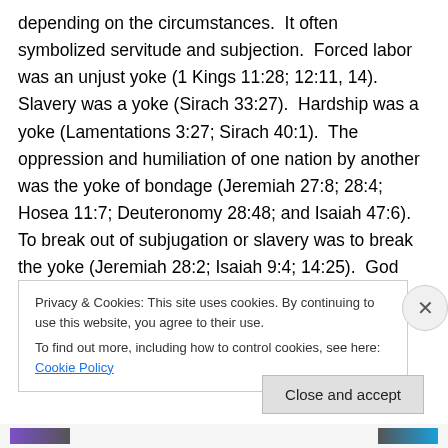depending on the circumstances.  It often symbolized servitude and subjection.  Forced labor was an unjust yoke (1 Kings 11:28; 12:11, 14).  Slavery was a yoke (Sirach 33:27).  Hardship was a yoke (Lamentations 3:27; Sirach 40:1).  The oppression and humiliation of one nation by another was the yoke of bondage (Jeremiah 27:8; 28:4; Hosea 11:7; Deuteronomy 28:48; and Isaiah 47:6).  To break out of subjugation or slavery was to break the yoke (Jeremiah 28:2; Isaiah 9:4; 14:25).  God promised to break the yoke of Egypt in Ezekiel 30:18.  To break away from God was to break God's yoke (Jeremiah
Privacy & Cookies: This site uses cookies. By continuing to use this website, you agree to their use.
To find out more, including how to control cookies, see here: Cookie Policy